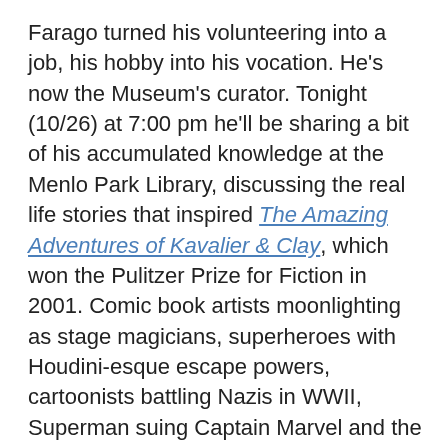Farago turned his volunteering into a job, his hobby into his vocation. He's now the Museum's curator. Tonight (10/26) at 7:00 pm he'll be sharing a bit of his accumulated knowledge at the Menlo Park Library, discussing the real life stories that inspired The Amazing Adventures of Kavalier & Clay, which won the Pulitzer Prize for Fiction in 2001. Comic book artists moonlighting as stage magicians, superheroes with Houdini-esque escape powers, cartoonists battling Nazis in WWII, Superman suing Captain Marvel and the U.S. Senate taking on Batman – what's real and what's made up?
“My talk helps people sort out the truth from fiction,” he says. “If you’ve read the book, you’ll